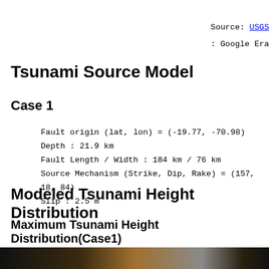Source: USGS
: Google Era
Tsunami Source Model
Case 1
Fault origin (lat, lon) = (-19.77, -70.98)
Depth : 21.9 km
Fault Length / Width : 184 km / 76 km
Source Mechanism (Strike, Dip, Rake) = (157, 18, 84)
Slip : 2.5 m
Modeled Tsunami Height Distribution
Maximum Tsunami Height Distribution(Case1)
[Figure (photo): Bottom image strip showing a tsunami height distribution map, partially visible]